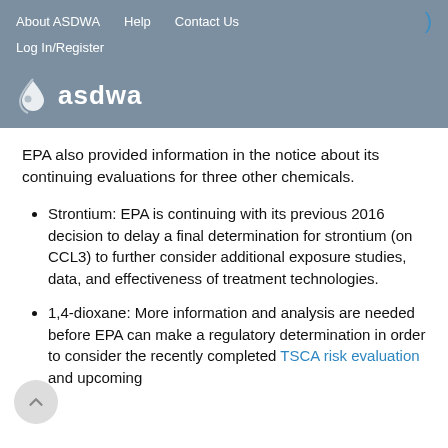About ASDWA   Help   Contact Us   Log In/Register
[Figure (logo): ASDWA logo with water drop icon and text 'asdwa' in white on grey background]
EPA also provided information in the notice about its continuing evaluations for three other chemicals.
Strontium: EPA is continuing with its previous 2016 decision to delay a final determination for strontium (on CCL3) to further consider additional exposure studies, data, and effectiveness of treatment technologies.
1,4-dioxane: More information and analysis are needed before EPA can make a regulatory determination in order to consider the recently completed TSCA risk evaluation and upcoming